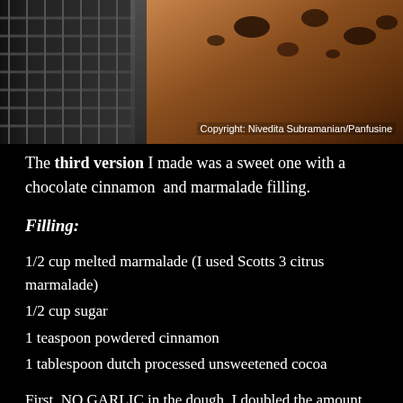[Figure (photo): A close-up photo of food (appears to be bread or pastry) baking in an oven with dark caramelized chocolate topping, with oven grates visible on the left side.]
Copyright: Nivedita Subramanian/Panfusine
The third version I made was a sweet one with a chocolate cinnamon  and marmalade filling.
Filling:
1/2 cup melted marmalade (I used Scotts 3 citrus marmalade)
1/2 cup sugar
1 teaspoon powdered cinnamon
1 tablespoon dutch processed unsweetened cocoa
First, NO GARLIC in the dough. I doubled the amount of